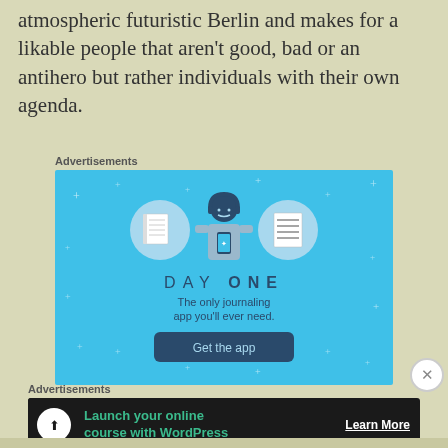atmospheric futuristic Berlin and makes for a likable people that aren't good, bad or an antihero but rather individuals with their own agenda.
Advertisements
[Figure (illustration): Day One journaling app advertisement on cyan/blue background with icons of notebook, person holding phone, and checklist. Text reads: DAY ONE - The only journaling app you'll ever need. Get the app button.]
Advertisements
[Figure (illustration): Dark banner ad: Launch your online course with WordPress. Learn More button. White circular icon with figure/upload symbol on left.]